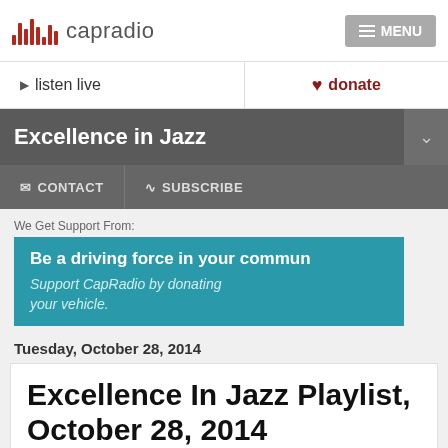capradio — MENU
▶ listen live   ♥ donate
Excellence in Jazz
✉ CONTACT   ⊕ SUBSCRIBE
We Get Support From:
[Figure (infographic): Teal advertisement box: 'Be a driving force in your commun[ity]' with subtext 'Support CapRadio by donating your vehicle.']
Tuesday, October 28, 2014
Excellence In Jazz Playlist, October 28, 2014
[Figure (photo): Partial thumbnail images at the bottom of the article card]